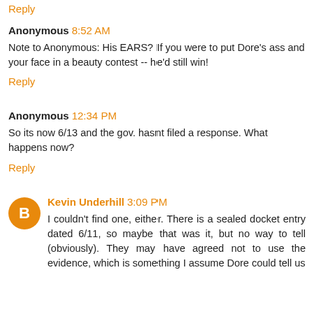Reply
Anonymous 8:52 AM
Note to Anonymous: His EARS? If you were to put Dore's ass and your face in a beauty contest -- he'd still win!
Reply
Anonymous 12:34 PM
So its now 6/13 and the gov. hasnt filed a response. What happens now?
Reply
Kevin Underhill 3:09 PM
I couldn't find one, either. There is a sealed docket entry dated 6/11, so maybe that was it, but no way to tell (obviously). They may have agreed not to use the evidence, which is something I assume Dore could tell us